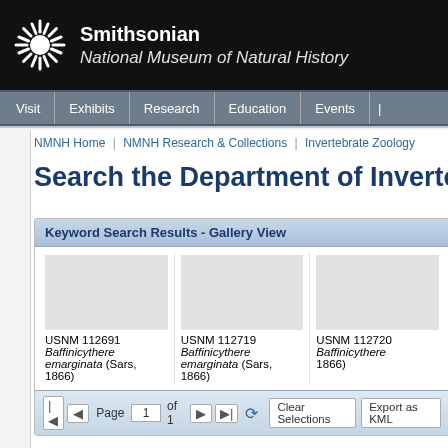[Figure (logo): Smithsonian National Museum of Natural History logo with sunburst symbol on black background]
Visit | Exhibits | Research | Education | Events
NMNH Home | NMNH Research & Collections | Invertebrate Zoology
Search the Department of Invertebrate
Keyword Search Results - Gallery View
USNM 112691
Baffinicythere emarginata (Sars, 1866)
USNM 112719
Baffinicythere emarginata (Sars, 1866)
USNM 112720
Baffinicythere 1866)
Page 1 of 1 | Clear Selections | Export as KML